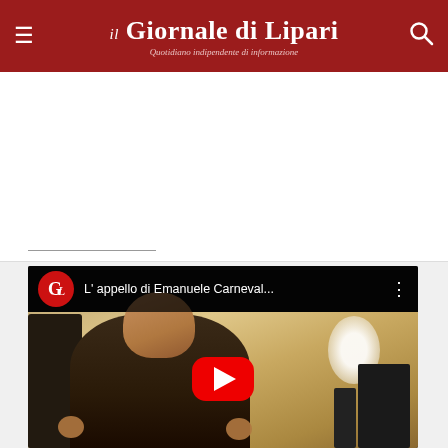il Giornale di Lipari — Quotidiano indipendente di informazione
[Figure (screenshot): White advertisement/content area with a horizontal underline separator]
[Figure (screenshot): YouTube video thumbnail showing a man being interviewed, with GL logo, title 'L'appello di Emanuele Carnevali...' and a YouTube play button overlay]